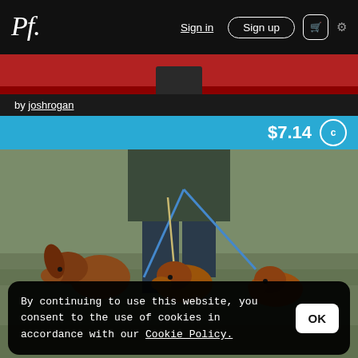Pf. Sign in Sign up
by joshrogan
$7.14 c
[Figure (photo): Person walking three golden/red dogs on leashes in a grassy field, view from waist down, person wearing dark jacket and jeans]
By continuing to use this website, you consent to the use of cookies in accordance with our Cookie Policy.
OK